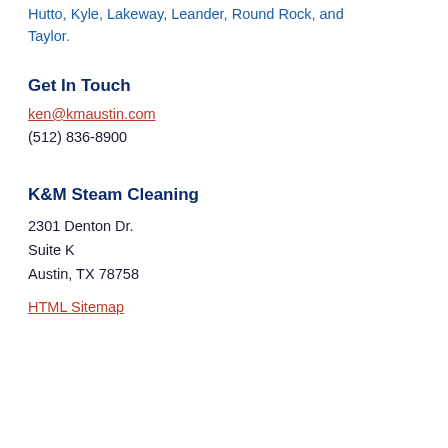Hutto, Kyle, Lakeway, Leander, Round Rock, and Taylor.
Get In Touch
ken@kmaustin.com
(512) 836-8900
K&M Steam Cleaning
2301 Denton Dr.
Suite K
Austin, TX 78758
HTML Sitemap